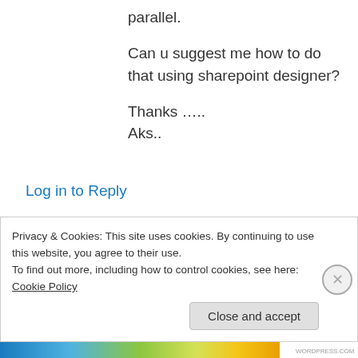parallel.
Can u suggest me how to do that using sharepoint designer?
Thanks …..
Aks..
Log in to Reply
Clayton Cobb on November 26, 2009 at 11:18 AM
Privacy & Cookies: This site uses cookies. By continuing to use this website, you agree to their use.
To find out more, including how to control cookies, see here: Cookie Policy